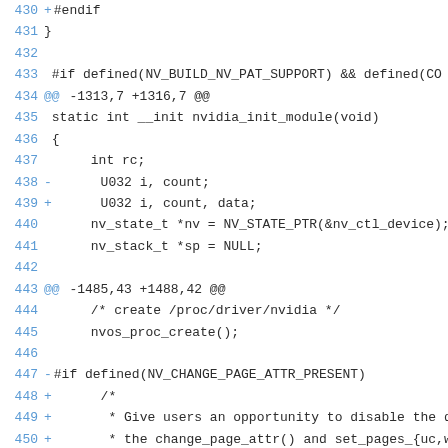Code diff showing lines 430–454 of an NVIDIA kernel module patch
430  +#endif
431  }
432
433   #if defined(NV_BUILD_NV_PAT_SUPPORT) && defined(CO
434 @@ -1313,7 +1316,7 @@
435   static int __init nvidia_init_module(void)
436   {
437         int rc;
438 -      U032 i, count;
439 +      U032 i, count, data;
440         nv_state_t *nv = NV_STATE_PTR(&nv_ctl_device);
441         nv_stack_t *sp = NULL;
442
443 @@ -1485,43 +1488,42 @@
444         /* create /proc/driver/nvidia */
445         nvos_proc_create();
446
447 -#if defined(NV_CHANGE_PAGE_ATTR_PRESENT)
448 +      /*
449 +       * Give users an opportunity to disable the dr
450 +       * the change_page_attr() and set_pages_{uc,wb
451 +       * interfaces.
452 +       */
453 +      rc = rm_read_registry_dword(sp, nv,
454 +            "NVreq", NV_REG_UPDATE_MEMORY_TYPES, &